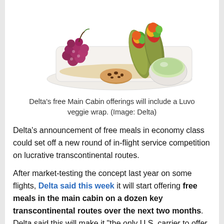[Figure (photo): A plate with a Luvo veggie wrap, red grapes, a chocolate chip cookie, and a small bowl of green dipping sauce on a white tray with brown paper.]
Delta's free Main Cabin offerings will include a Luvo veggie wrap. (Image: Delta)
Delta's announcement of free meals in economy class could set off a new round of in-flight service competition on lucrative transcontinental routes.
After market-testing the concept last year on some flights, Delta said this week it will start offering free meals in the main cabin on a dozen key transcontinental routes over the next two months. Delta said this will make it "the only U.S. carrier to offer complimentary fresh meals from nose to tail on select coast-to-coast routes."